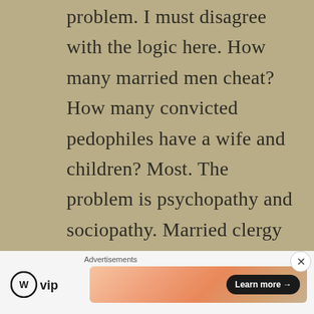problem. I must disagree with the logic here. How many married men cheat? How many convicted pedophiles have a wife and children? Most. The problem is psychopathy and sociopathy. Married clergy perpetrate all the time. Countless unmarried,
[Figure (other): Advertisements section with WordPress VIP logo and a gradient orange/peach banner ad with 'Learn more →' button]